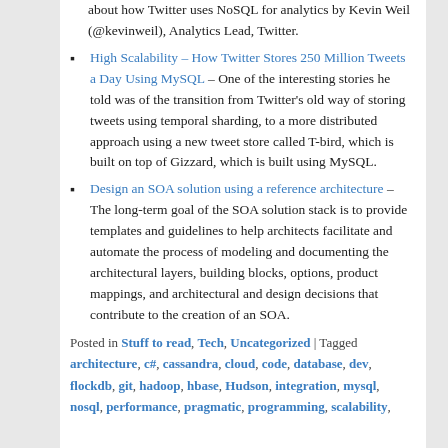about how Twitter uses NoSQL for analytics by Kevin Weil (@kevinweil), Analytics Lead, Twitter.
High Scalability – How Twitter Stores 250 Million Tweets a Day Using MySQL – One of the interesting stories he told was of the transition from Twitter's old way of storing tweets using temporal sharding, to a more distributed approach using a new tweet store called T-bird, which is built on top of Gizzard, which is built using MySQL.
Design an SOA solution using a reference architecture – The long-term goal of the SOA solution stack is to provide templates and guidelines to help architects facilitate and automate the process of modeling and documenting the architectural layers, building blocks, options, product mappings, and architectural and design decisions that contribute to the creation of an SOA.
Posted in Stuff to read, Tech, Uncategorized | Tagged architecture, c#, cassandra, cloud, code, database, dev, flockdb, git, hadoop, hbase, Hudson, integration, mysql, nosql, performance, pragmatic, programming, scalability,